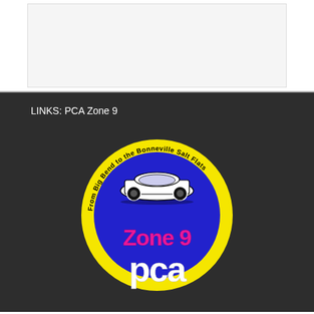[Figure (other): White/light gray rectangle area at top of page]
LINKS: PCA Zone 9
[Figure (logo): PCA Zone 9 circular logo with yellow border, blue interior, Porsche 911 car illustration, text 'From Big Bend to the Bonneville Salt Flats' around the top, 'Zone 9' in pink/magenta letters, 'pca' in large white letters at bottom]